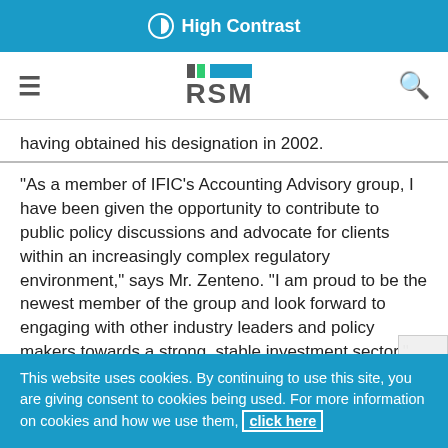High Contrast
RSM [navigation bar with hamburger menu and search icon]
having obtained his designation in 2002.
"As a member of IFIC's Accounting Advisory group, I have been given the opportunity to contribute to public policy discussions and advocate for clients within an increasingly complex regulatory environment," says Mr. Zenteno. "I am proud to be the newest member of the group and look forward to engaging with other industry leaders and policy makers towards a strong, stable investment sector."
This website uses cookies. By continuing to use this site, you are giving consent to cookies being used. For more information on cookies and how we use them, click here